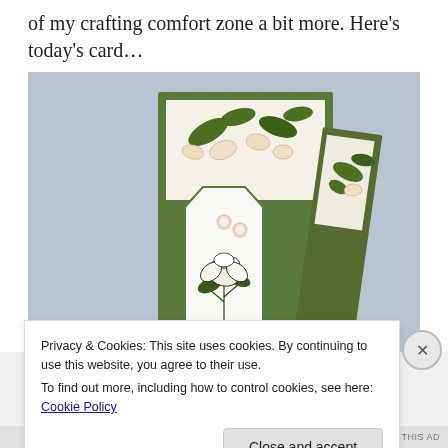of my crafting comfort zone a bit more. Here's today's card…
[Figure (photo): A handmade greeting card with a dark green card base and floral patterned paper featuring magnolia flowers. A shaped tag or panel with a hexagonal top is layered on the front, adorned with small pearl embellishments, and a stamped magnolia flower image. The card is photographed against a pale blue/grey textured background.]
Privacy & Cookies: This site uses cookies. By continuing to use this website, you agree to their use.
To find out more, including how to control cookies, see here: Cookie Policy
Close and accept